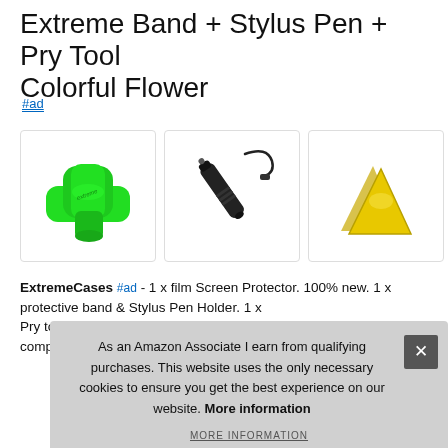Extreme Band + Stylus Pen + Pry Tool Colorful Flower
#ad
[Figure (photo): Three product photos in a row: a green rubber band/strap with 'extreme' branding, a black stylus pen with cap and cord, and two yellow triangular pry tools.]
ExtremeCases #ad - 1 x film Screen Protector. 100% new. 1 x protective band... Pry... com...
As an Amazon Associate I earn from qualifying purchases. This website uses the only necessary cookies to ensure you get the best experience on our website. More information